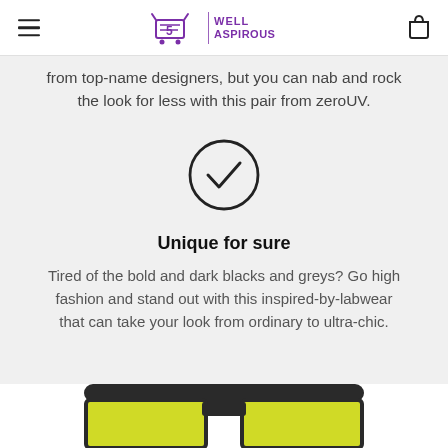Well Aspirous
from top-name designers, but you can nab and rock the look for less with this pair from zeroUV.
[Figure (illustration): Circle with a checkmark inside, hand-drawn style icon]
Unique for sure
Tired of the bold and dark blacks and greys? Go high fashion and stand out with this inspired-by-labwear that can take your look from ordinary to ultra-chic.
[Figure (photo): Bottom portion of dark-framed sunglasses with yellow-green lenses, cropped at bottom of page]